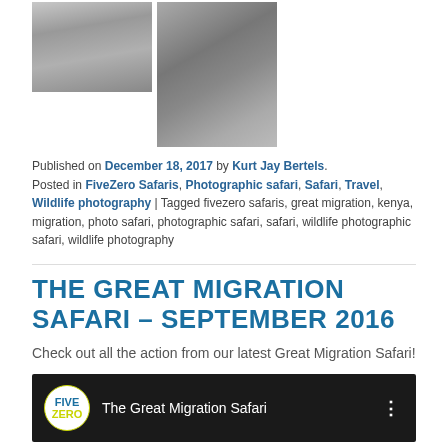[Figure (photo): Two thumbnail photos in grayscale: a landscape photo on the left (wide format showing sky/clouds), and a portrait photo on the right (showing an animal close-up)]
Published on December 18, 2017 by Kurt Jay Bertels.
Posted in FiveZero Safaris, Photographic safari, Safari, Travel, Wildlife photography | Tagged fivezero safaris, great migration, kenya, migration, photo safari, photographic safari, safari, wildlife photographic safari, wildlife photography
THE GREAT MIGRATION SAFARI – SEPTEMBER 2016
Check out all the action from our latest Great Migration Safari!
[Figure (screenshot): Video thumbnail preview showing FiveZero logo and title 'The Great Migration Safari' on dark background with a menu icon (three dots) on the right]